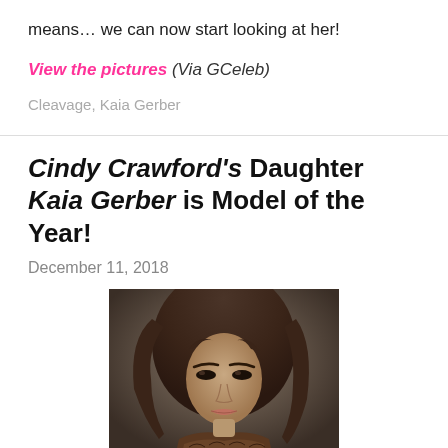means… we can now start looking at her!
View the pictures (Via GCeleb)
Cleavage, Kaia Gerber
Cindy Crawford's Daughter Kaia Gerber is Model of the Year!
December 11, 2018
[Figure (photo): Portrait photo of Kaia Gerber with long wavy dark brown hair, wearing a fur or patterned garment, against a dark gray/brown background]